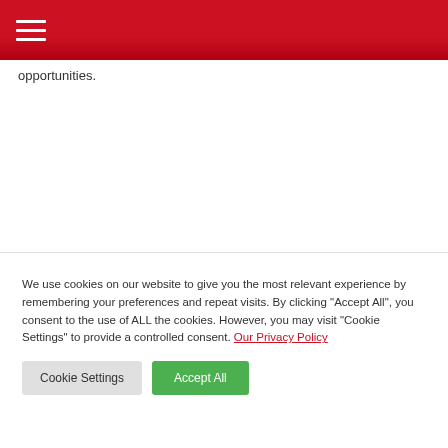≡
opportunities.
We use cookies on our website to give you the most relevant experience by remembering your preferences and repeat visits. By clicking "Accept All", you consent to the use of ALL the cookies. However, you may visit "Cookie Settings" to provide a controlled consent. Our Privacy Policy
Cookie Settings | Accept All